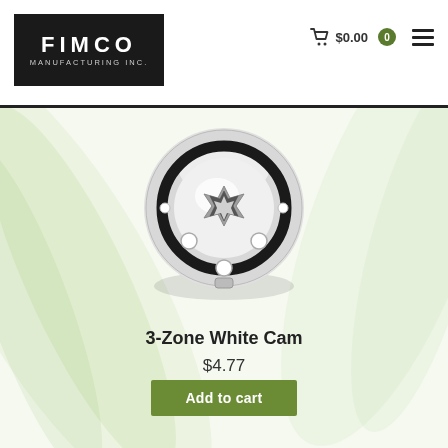FIMCO MANUFACTURING INC. | Cart $0.00 | 0
[Figure (photo): Overhead view of a 3-zone white cam part — a round white plastic fitting with a black O-ring seal and a star-shaped central hole, with three mounting holes around the perimeter]
3-Zone White Cam
$4.77
Add to cart